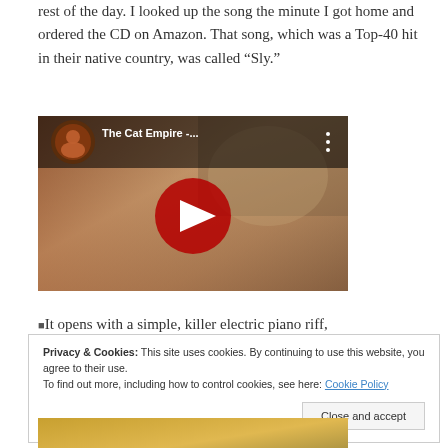rest of the day. I looked up the song the minute I got home and ordered the CD on Amazon. That song, which was a Top-40 hit in their native country, was called “Sly.”
[Figure (screenshot): YouTube video embed showing 'The Cat Empire -...' with a red play button and video thumbnail of a person, circular avatar thumbnail in top-left]
It opens with a simple, killer electric piano riff,
Privacy & Cookies: This site uses cookies. By continuing to use this website, you agree to their use.
To find out more, including how to control cookies, see here: Cookie Policy
Close and accept